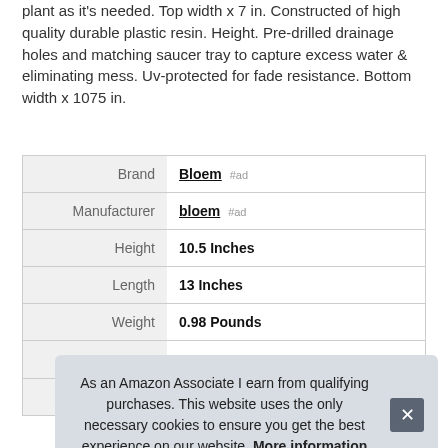plant as it's needed. Top width x 7 in. Constructed of high quality durable plastic resin. Height. Pre-drilled drainage holes and matching saucer tray to capture excess water & eliminating mess. Uv-protected for fade resistance. Bottom width x 1075 in.
| Brand | Bloem #ad |
| Manufacturer | bloem #ad |
| Height | 10.5 Inches |
| Length | 13 Inches |
| Weight | 0.98 Pounds |
| P |  |
| Warranty | 1 year manufacturer |
As an Amazon Associate I earn from qualifying purchases. This website uses the only necessary cookies to ensure you get the best experience on our website. More information